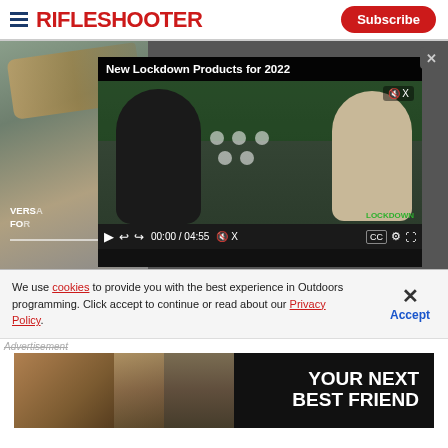RifleShooter | Subscribe
[Figure (screenshot): Video player showing 'New Lockdown Products for 2022' with two people talking in front of a gun display wall, controls showing 00:00 / 04:55]
We use cookies to provide you with the best experience in Outdoors programming. Click accept to continue or read about our Privacy Policy.
Advertisement
[Figure (photo): Advertisement banner with owl image and text 'YOUR NEXT BEST FRIEND']